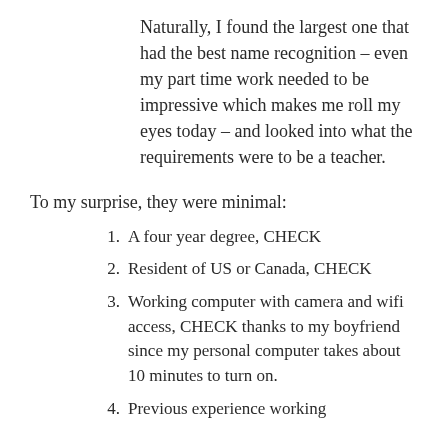Naturally, I found the largest one that had the best name recognition – even my part time work needed to be impressive which makes me roll my eyes today – and looked into what the requirements were to be a teacher.
To my surprise, they were minimal:
A four year degree, CHECK
Resident of US or Canada, CHECK
Working computer with camera and wifi access, CHECK thanks to my boyfriend since my personal computer takes about 10 minutes to turn on.
Previous experience working